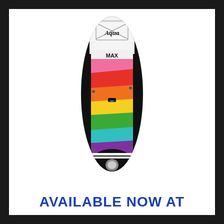[Figure (photo): Top-down view of an inflatable stand-up paddleboard (SUP) branded 'Aqua MAX' with a rainbow stripe design (pink, red, orange, yellow, green, teal, purple) on a black border, white nose section with bungee cord storage, and a fin/valve at the tail.]
AVAILABLE NOW AT